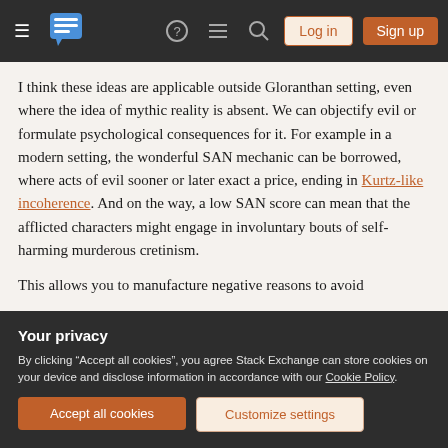Stack Exchange navigation bar with Log in and Sign up buttons
I think these ideas are applicable outside Gloranthan setting, even where the idea of mythic reality is absent. We can objectify evil or formulate psychological consequences for it. For example in a modern setting, the wonderful SAN mechanic can be borrowed, where acts of evil sooner or later exact a price, ending in Kurtz-like incoherence. And on the way, a low SAN score can mean that the afflicted characters might engage in involuntary bouts of self-harming murderous cretinism.
This allows you to manufacture negative reasons to avoid
Your privacy
By clicking "Accept all cookies", you agree Stack Exchange can store cookies on your device and disclose information in accordance with our Cookie Policy.
Accept all cookies
Customize settings